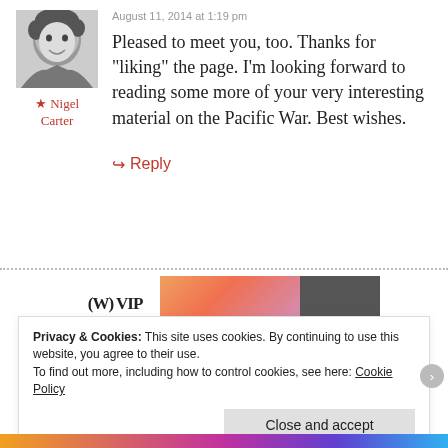August 11, 2014 at 1:19 pm
[Figure (photo): Black and white portrait photo of a young boy smiling]
★ Nigel Carter
Pleased to meet you, too. Thanks for “liking” the page. I’m looking forward to reading some more of your very interesting material on the Pacific War. Best wishes.
→ Reply
[Figure (other): Advertisement banner with WordPress VIP logo and gradient graphic]
REPORT THIS AD
Privacy & Cookies: This site uses cookies. By continuing to use this website, you agree to their use. To find out more, including how to control cookies, see here: Cookie Policy
Close and accept